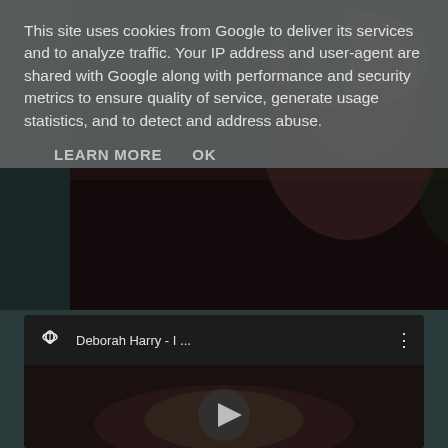[Figure (screenshot): Top video thumbnail showing a person with blonde hair, dark background with foliage]
This site uses cookies from Google to deliver its services and to analyze traffic. Your IP address and user-agent are shared with Google along with performance and security metrics to ensure quality of service, generate usage statistics, and to detect and address abuse.
LEARN MORE    OK
[Figure (screenshot): YouTube embedded player showing Deborah Harry video with play button, YouTube logo and title 'Deborah Harry - I ...' with three-dot menu]